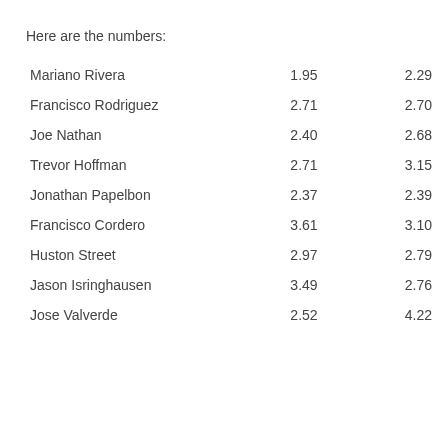Here are the numbers:
| Mariano Rivera | 1.95 | 2.29 |
| Francisco Rodriguez | 2.71 | 2.70 |
| Joe Nathan | 2.40 | 2.68 |
| Trevor Hoffman | 2.71 | 3.15 |
| Jonathan Papelbon | 2.37 | 2.39 |
| Francisco Cordero | 3.61 | 3.10 |
| Huston Street | 2.97 | 2.79 |
| Jason Isringhausen | 3.49 | 2.76 |
| Jose Valverde | 2.52 | 4.22 |